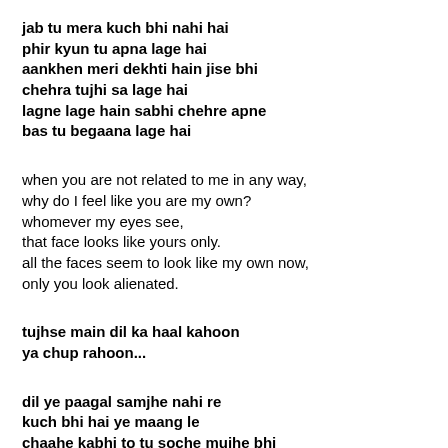jab tu mera kuch bhi nahi hai
phir kyun tu apna lage hai
aankhen meri dekhti hain jise bhi
chehra tujhi sa lage hai
lagne lage hain sabhi chehre apne
bas tu begaana lage hai
when you are not related to me in any way,
why do I feel like you are my own?
whomever my eyes see,
that face looks like yours only.
all the faces seem to look like my own now,
only you look alienated.
tujhse main dil ka haal kahoon
ya chup rahoon...
dil ye paagal samjhe nahi re
kuch bhi hai ye maang le
chaahe kabhi to tu soche mujhe bhi
kabhi to mera naam le
paa naa sake ye jise zindagi mein